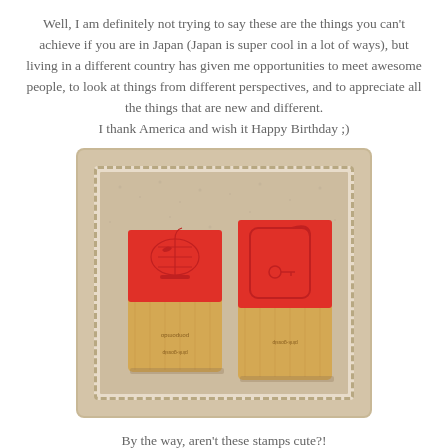Well, I am definitely not trying to say these are the things you can't achieve if you are in Japan (Japan is super cool in a lot of ways), but living in a different country has given me opportunities to meet awesome people, to look at things from different perspectives, and to appreciate all the things that are new and different.
I thank America and wish it Happy Birthday ;)
[Figure (photo): Two wooden rubber stamps with red rubber tops. The left stamp features a bird cage design, the right stamp features a tag/label design with a curl. Both have text on the wood base.]
By the way, aren't these stamps cute?!
They are designed by ako of BeachField who is